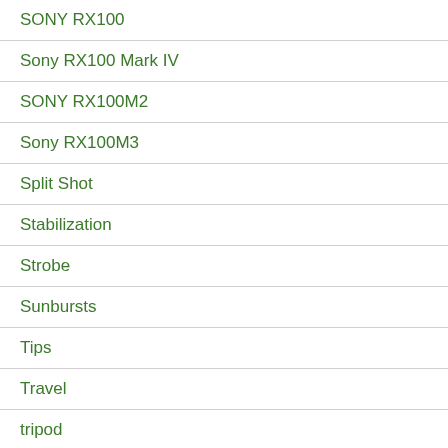SONY RX100
Sony RX100 Mark IV
SONY RX100M2
Sony RX100M3
Split Shot
Stabilization
Strobe
Sunbursts
Tips
Travel
tripod
Uncategorized
Underwater Photography